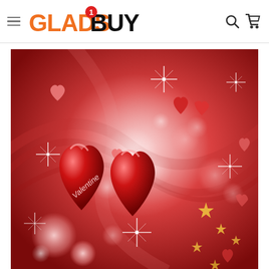GladsBuy navigation header with logo, hamburger menu, search and cart icons
[Figure (illustration): Valentine's Day themed banner image with red background, two large glossy red heart shapes labeled 'Valentine' in the center, surrounded by smaller hearts, bokeh light circles, glowing star-burst sparkles, and scattered golden star shapes on a swirling deep red background.]